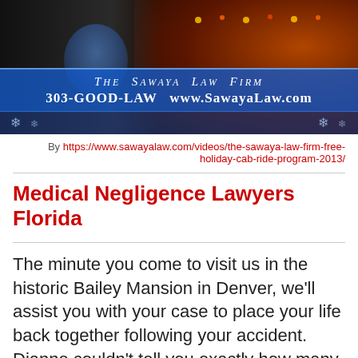[Figure (photo): Screenshot/photo of The Sawaya Law Firm promotional video showing a man in a dark suit with blue shirt, with decorative holiday lights in background and a blue banner overlay reading 'The Sawaya Law Firm 303-GOOD-LAW www.SawayaLaw.com']
By https://www.sawayalaw.com/videos/the-sawaya-law-firm-free-holiday-cab-ride-program-2013/
Medical Negligence Lawyers Florida
The minute you come to visit us in the historic Bailey Mansion in Denver, we’ll assist you with your case to place your life back together following your accident. Dianne couldn’t tell you exactly how many times she’s seen her favourite filmsSachjacuit and Rocky